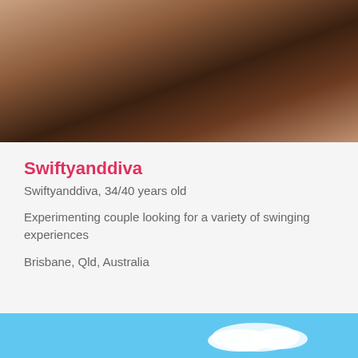[Figure (photo): Close-up photo of two people, dark tones, warm amber/brown hues]
Swiftyanddiva
Swiftyanddiva, 34/40 years old
Experimenting couple looking for a variety of swinging experiences
Brisbane, Qld, Australia
[Figure (photo): Blue sky with clouds, partial view at bottom of page]